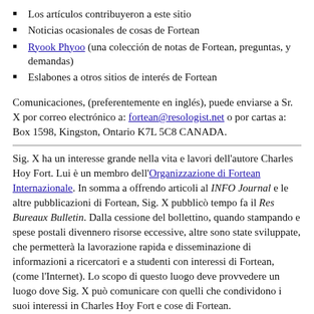Los artículos contribuyeron a este sitio
Noticias ocasionales de cosas de Fortean
Ryook Phyoo (una colección de notas de Fortean, preguntas, y demandas)
Eslabones a otros sitios de interés de Fortean
Comunicaciones, (preferentemente en inglés), puede enviarse a Sr. X por correo electrónico a: fortean@resologist.net o por cartas a: Box 1598, Kingston, Ontario K7L 5C8 CANADA.
Sig. X ha un interesse grande nella vita e lavori dell'autore Charles Hoy Fort. Lui è un membro dell'Organizzazione di Fortean Internazionale. In somma a offrendo articoli al INFO Journal e le altre pubblicazioni di Fortean, Sig. X pubblicò tempo fa il Res Bureaux Bulletin. Dalla cessione del bollettino, quando stampando e spese postali divennero risorse eccessive, altre sono state sviluppate, che permetterà la lavorazione rapida e disseminazione di informazioni a ricercatori e a studenti con interessi di Fortean, (come l'Internet). Lo scopo di questo luogo deve provvedere un luogo dove Sig. X può comunicare con quelli che condividono i suoi interessi in Charles Hoy Fort e cose di Fortean.
Si sta espandendo questo luogo includere: